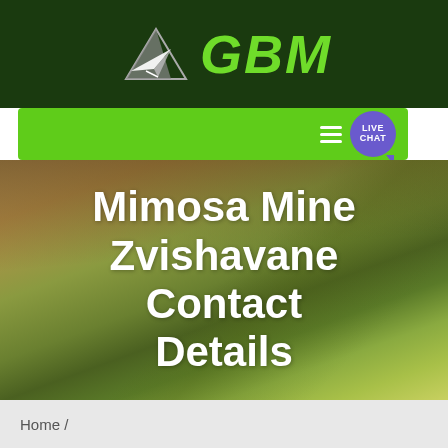[Figure (logo): GBM logo with paper airplane icon on dark green background bar]
[Figure (screenshot): Green navigation bar with hamburger menu and live chat bubble button on the right]
[Figure (photo): Aerial photograph of agricultural fields in green and golden tones with a lone tree]
Mimosa Mine Zvishavane Contact Details
Home /